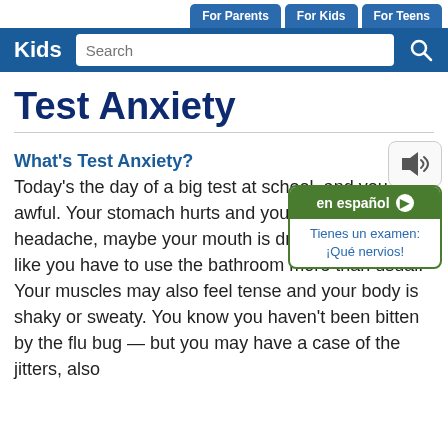For Parents | For Kids | For Teens
Kids Search
Test Anxiety
What's Test Anxiety?
Today's the day of a big test at school, and you feel awful. Your stomach hurts and you have a headache, maybe your mouth is dry and you feel like you have to use the bathroom more than usual. Your muscles may also feel tense and your body is shaky or sweaty. You know you haven't been bitten by the flu bug — but you may have a case of the jitters, also
en español
Tienes un examen: ¡Qué nervios!